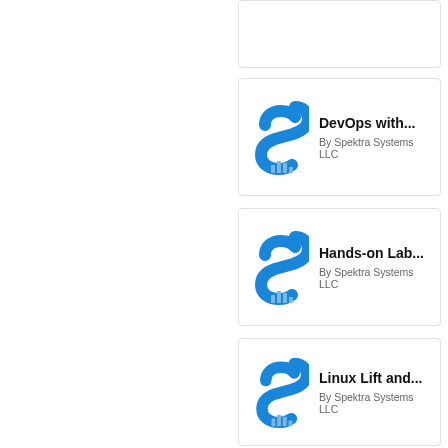[Figure (screenshot): Partial card at top, cropped, Spektra Systems LLC]
[Figure (logo): Spektra Systems LLC logo - blue S shape]
DevOps with...
By Spektra Systems LLC
[Figure (logo): Spektra Systems LLC logo - blue S shape]
Hands-on Lab...
By Spektra Systems LLC
[Figure (logo): Spektra Systems LLC logo - blue S shape]
Linux Lift and...
By Spektra Systems LLC
[Figure (logo): Spektra Systems LLC logo - blue S shape]
Azure Virtual...
By Spektra Systems LLC